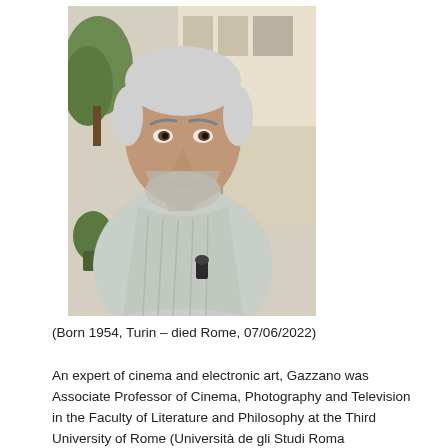[Figure (photo): Portrait photograph of a middle-aged man with short grey-white hair and a grey beard, wearing a light-colored striped shirt, smiling slightly, photographed outdoors with greenery and a building in the background.]
(Born 1954, Turin – died Rome, 07/06/2022)
An expert of cinema and electronic art, Gazzano was Associate Professor of Cinema, Photography and Television in the Faculty of Literature and Philosophy at the Third University of Rome (Università de gli Studi Roma